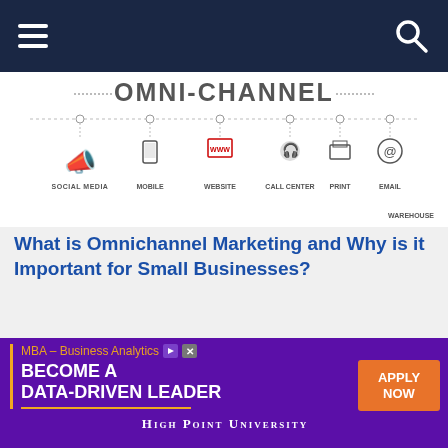Navigation bar with hamburger menu and search icon
[Figure (infographic): Omni-Channel marketing infographic showing icons for Social Media, Mobile, Website, Call Center, Print, Email, Warehouse connected by dashed lines]
What is Omnichannel Marketing and Why is it Important for Small Businesses?
[Figure (photo): Japan travel image showing Mount Fuji and a red pagoda temple with blue sky]
[Figure (other): Advertisement: MBA – Business Analytics. BECOME A DATA-DRIVEN LEADER. APPLY NOW. HIGH POINT UNIVERSITY]